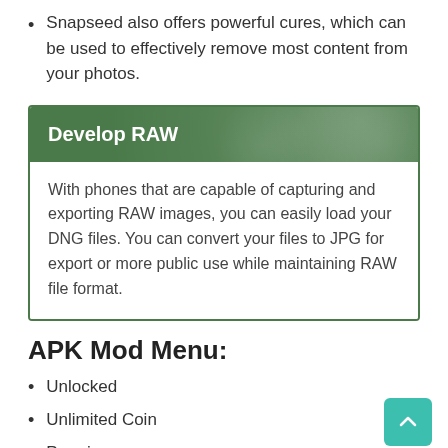Snapseed also offers powerful cures, which can be used to effectively remove most content from your photos.
Develop RAW
With phones that are capable of capturing and exporting RAW images, you can easily load your DNG files. You can convert your files to JPG for export or more public use while maintaining RAW file format.
APK Mod Menu:
Unlocked
Unlimited Coin
Premium